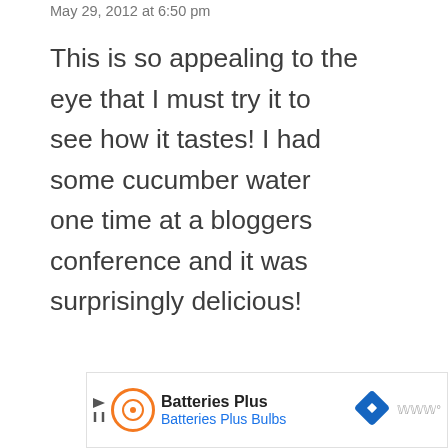May 29, 2012 at 6:50 pm
This is so appealing to the eye that I must try it to see how it tastes! I had some cucumber water one time at a bloggers conference and it was surprisingly delicious!
6.1K
Reply
WHAT'S NEXT → Favorite Kosher Dill....
Batteries Plus
Batteries Plus Bulbs